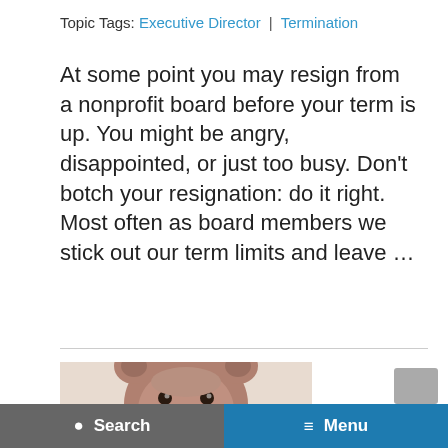Topic Tags: Executive Director | Termination
At some point you may resign from a nonprofit board before your term is up. You might be angry, disappointed, or just too busy. Don't botch your resignation: do it right.   Most often as board members we stick out our term limits and leave ...
[Figure (photo): A brown teddy bear lying down, holding something in its mouth, partially visible at the bottom of the page]
Search | Menu